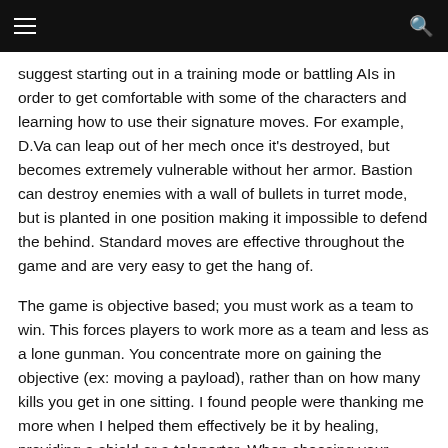≡  🔍
suggest starting out in a training mode or battling AIs in order to get comfortable with some of the characters and learning how to use their signature moves. For example, D.Va can leap out of her mech once it's destroyed, but becomes extremely vulnerable without her armor. Bastion can destroy enemies with a wall of bullets in turret mode, but is planted in one position making it impossible to defend the behind. Standard moves are effective throughout the game and are very easy to get the hang of.
The game is objective based; you must work as a team to win. This forces players to work more as a team and less as a lone gunman. You concentrate more on gaining the objective (ex: moving a payload), rather than on how many kills you get in one sitting. I found people were thanking me more when I helped them effectively be it by healing, providing a shield or a teleporter. When choosing your character at the beginning of a match, the game will tell you what your team is missing (whether your teammates choose to follow the suggestion is another matter).
The game also doesn't give me a chance to feel like a total loser. When